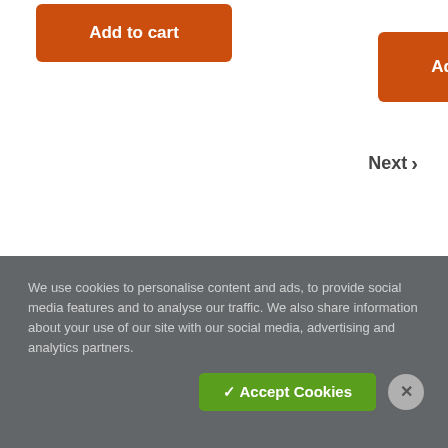Add to cart
Add to cart
Next ›
See Footnotes ∨
We use cookies to personalise content and ads, to provide social media features and to analyse our traffic. We also share information about your use of our site with our social media, advertising and analytics partners.
✓ Accept Cookies
✕